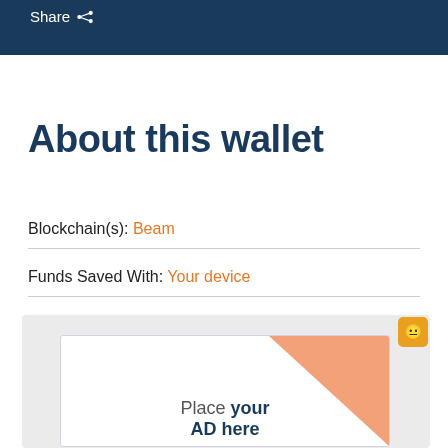Share
About this wallet
Blockchain(s): Beam
Funds Saved With: Your device
[Figure (illustration): Advertisement placeholder with orange triangle graphic, emoji icon, and text reading 'Place your AD here']